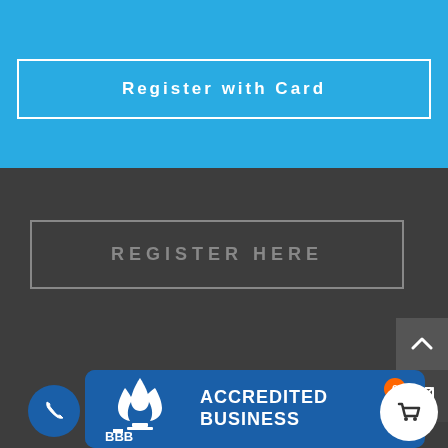[Figure (screenshot): Blue section with Register with Card button (white border, white text on cyan/blue background)]
[Figure (screenshot): Dark gray section with REGISTER HERE button outline, scroll-up arrow button, mail envelope button, BBB Accredited Business logo badge, phone button, and cart button with badge showing 0]